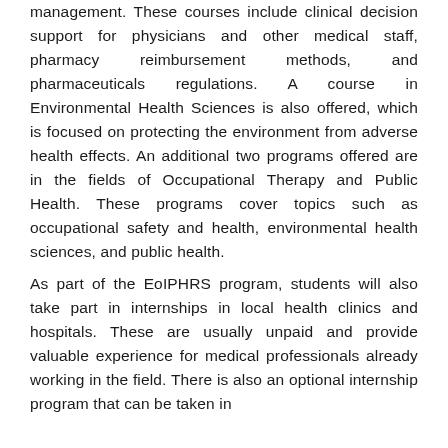management. These courses include clinical decision support for physicians and other medical staff, pharmacy reimbursement methods, and pharmaceuticals regulations. A course in Environmental Health Sciences is also offered, which is focused on protecting the environment from adverse health effects. An additional two programs offered are in the fields of Occupational Therapy and Public Health. These programs cover topics such as occupational safety and health, environmental health sciences, and public health.
As part of the EoIPHRS program, students will also take part in internships in local health clinics and hospitals. These are usually unpaid and provide valuable experience for medical professionals already working in the field. There is also an optional internship program that can be taken in